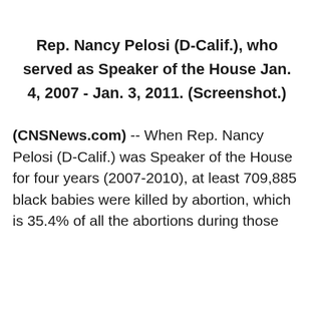Rep. Nancy Pelosi (D-Calif.), who served as Speaker of the House Jan. 4, 2007 - Jan. 3, 2011. (Screenshot.)
(CNSNews.com) -- When Rep. Nancy Pelosi (D-Calif.) was Speaker of the House for four years (2007-2010), at least 709,885 black babies were killed by abortion, which is 35.4% of all the abortions during those